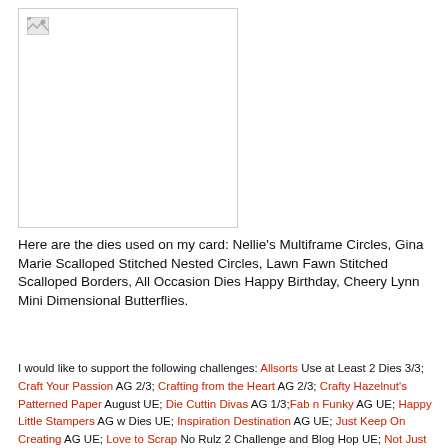[Figure (photo): A broken/unloaded image placeholder with small image icon in top-left corner, shown within a bordered box]
Here are the dies used on my card: Nellie's Multiframe Circles, Gina Marie Scalloped Stitched Nested Circles, Lawn Fawn Stitched Scalloped Borders, All Occasion Dies Happy Birthday, Cheery Lynn Mini Dimensional Butterflies.
I would like to support the following challenges: Allsorts Use at Least 2 Dies 3/3; Craft Your Passion AG 2/3; Crafting from the Heart AG 2/3; Crafty Hazelnut's Patterned Paper August UE; Die Cuttin Divas AG 1/3; Fab n Funky AG UE; Happy Little Stampers AG w Dies UE; Inspiration Destination AG UE; Just Keep On Creating AG UE; Love to Scrap No Rulz 2 Challenge and Blog Hop UE; Not Just Cards August AG UE; Pile it On Die-cut Embellishments UE; Simon Says